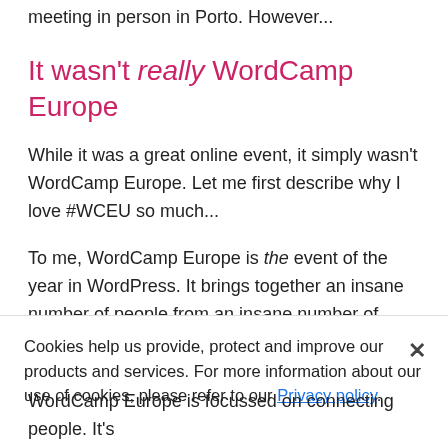meeting in person in Porto. However...
It wasn't really WordCamp Europe
While it was a great online event, it simply wasn't WordCamp Europe. Let me first describe why I love #WCEU so much...
To me, WordCamp Europe is the event of the year in WordPress. It brings together an insane number of people from an insane number of countries. As a result, WordCamp Europe forges friendships through organizing
it together, meeting people in person, sharing dinners and drinks and random conversations and sharing the same atmosphere...
Cookies help us provide, protect and improve our products and services. For more information about our use of cookies, please refer to our Privacy policy.
WordCamp Europe is focussed on connecting people. It's